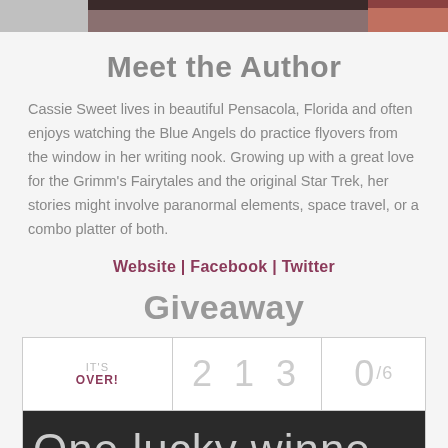[Figure (photo): Top portion of an image, cropped — shows a partial photo with pinkish/reddish tones at top and a grey/photo bar]
Meet the Author
Cassie Sweet lives in beautiful Pensacola, Florida and often enjoys watching the Blue Angels do practice flyovers from the window in her writing nook. Growing up with a great love for the Grimm's Fairytales and the original Star Trek, her stories might involve paranormal elements, space travel, or a combo platter of both.
Website | Facebook | Twitter
Giveaway
| IT'S OVER! | 2 1 3 | 0 |